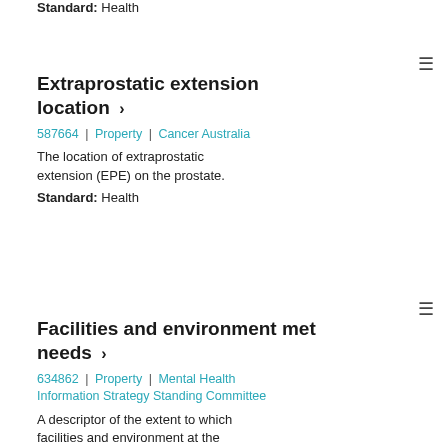Standard: Health
Extraprostatic extension location ›
587664 | Property | Cancer Australia
The location of extraprostatic extension (EPE) on the prostate.
Standard: Health
Facilities and environment met needs ›
634862 | Property | Mental Health Information Strategy Standing Committee
A descriptor of the extent to which facilities and environment at the service met needs.
Standard: Health